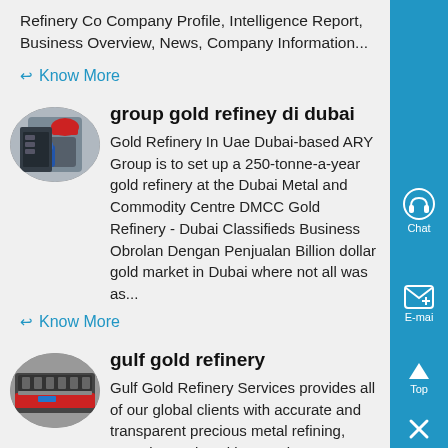Refinery Co Company Profile, Intelligence Report, Business Overview, News, Company Information...
Know More
group gold refiney di dubai
[Figure (photo): Oval photo of a worker in a red hard hat working with industrial equipment]
Gold Refinery In Uae Dubai-based ARY Group is to set up a 250-tonne-a-year gold refinery at the Dubai Metal and Commodity Centre DMCC Gold Refinery - Dubai Classifieds Business Obrolan Dengan Penjualan Billion dollar gold market in Dubai where not all was as...
Know More
gulf gold refinery
[Figure (photo): Oval photo showing industrial gold refinery equipment with red and blue colored machinery]
Gulf Gold Refinery Services provides all of our global clients with accurate and transparent precious metal refining, assaying and vaulting servic We ensure